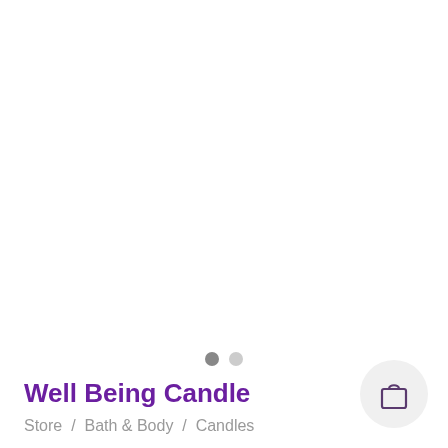[Figure (other): Pagination dots: one filled grey dot and one light grey dot, indicating image carousel position]
Well Being Candle
Store  /  Bath & Body  /  Candles
[Figure (illustration): Shopping bag / cart icon inside a circular light grey button in the bottom right corner]